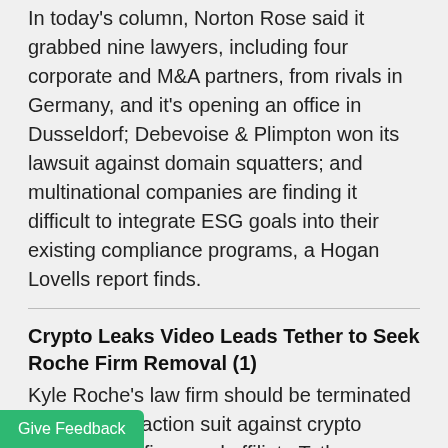In today's column, Norton Rose said it grabbed nine lawyers, including four corporate and M&A partners, from rivals in Germany, and it's opening an office in Dusseldorf; Debevoise & Plimpton won its lawsuit against domain squatters; and multinational companies are finding it difficult to integrate ESG goals into their existing compliance programs, a Hogan Lovells report finds.
Crypto Leaks Video Leads Tether to Seek Roche Firm Removal (1)
Kyle Roche's law firm should be terminated from a class action suit against crypto exchange Bitfinex and affiliate Tether because recordings of the attorney raise questions about his motivations, company lawyers said.
Top Ohio Court Rejects Dentons Appeal Testing Big Law